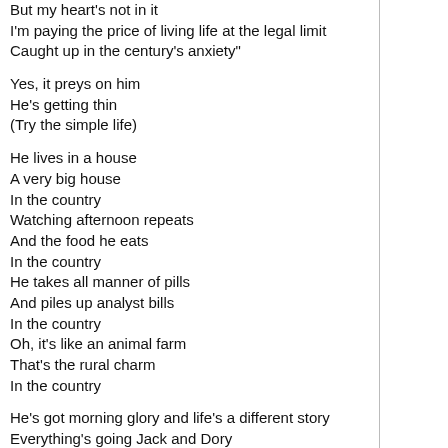But my heart's not in it
I'm paying the price of living life at the legal limit
Caught up in the century's anxiety"

Yes, it preys on him
He's getting thin
(Try the simple life)

He lives in a house
A very big house
In the country
Watching afternoon repeats
And the food he eats
In the country
He takes all manner of pills
And piles up analyst bills
In the country
Oh, it's like an animal farm
That's the rural charm
In the country

He's got morning glory and life's a different story
Everything's going Jack and Dory
Touched with his own mortality
He's reading Balzac, knocking back Prozac
It's a helping hand that makes you feel wonderfully bland
Oh, it's a century's remedy
For the faint at heart
A new start